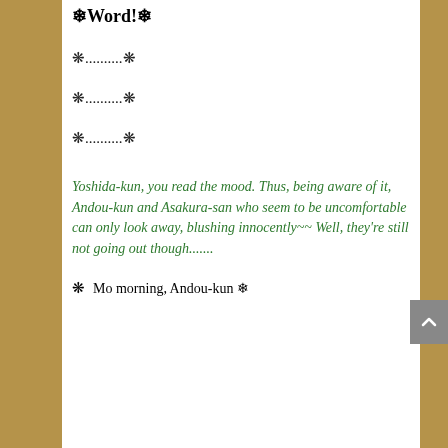❄Word!❄
❋..........❋
❋..........❋
❋..........❋
Yoshida-kun, you read the mood. Thus, being aware of it, Andou-kun and Asakura-san who seem to be uncomfortable can only look away, blushing innocently~~ Well, they're still not going out though.......
❋   Mo morning, Andou-kun ❄